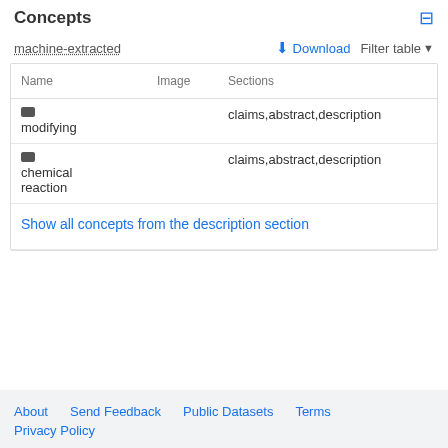Concepts
machine-extracted
| Name | Image | Sections | Count | Qu |
| --- | --- | --- | --- | --- |
| modifying |  | claims,abstract,description | 85 | 0.0 |
| chemical reaction |  | claims,abstract,description | 6 | 0.0 |
| Show all concepts from the description section |  |  |  |  |
About   Send Feedback   Public Datasets   Terms
Privacy Policy